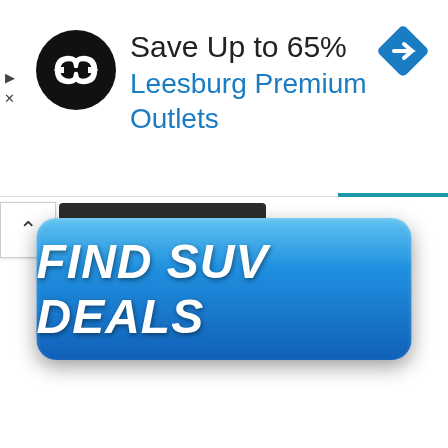[Figure (screenshot): Advertisement banner: circular black logo with infinity-style arrows icon, text 'Save Up to 65%' in dark gray and 'Leesburg Premium Outlets' in blue, blue diamond navigation icon on right, small play and X icons on left edge]
Post Comment
[Figure (screenshot): Large blue rounded rectangle button with bold italic white text 'FIND SUV DEALS']